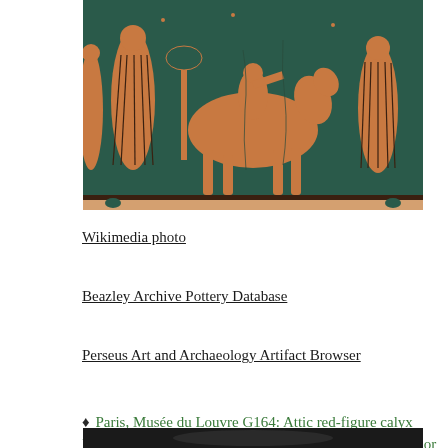[Figure (photo): Ancient Greek red-figure calyx krater showing figures including Apollo, Tityos and Gaia or Leto, with terracotta-orange figures on dark teal/black background, Attic pottery style]
Wikimedia photo
Beazley Archive Pottery Database
Perseus Art and Archaeology Artifact Browser
♦ Paris, Musée du Louvre G164: Attic red-figure calyx krater by Aigisthos Painter with Apollo, Tityos and Gaia or Leto
[Figure (photo): Bottom edge of another ancient Greek pottery artifact, dark background, partially visible]